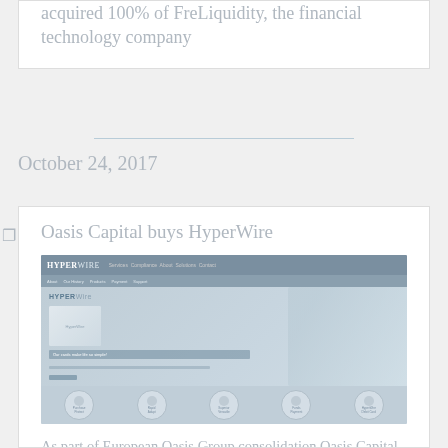acquired 100% of FreLiquidity, the financial technology company
October 24, 2017
Oasis Capital buys HyperWire
[Figure (screenshot): Screenshot of the HyperWire website showing company branding, navigation bar, hero section with card image and tagline 'Our cards make life so simple!', and five circular icon buttons at the bottom for features like Purchase Protect, Rapid Adapt, Superior Versatile, Funds Payment, and HyperWire Debit Card.]
As part of European Oasis Group consolidation Oasis Capital Group Plc acquired 100% of HyperWire the